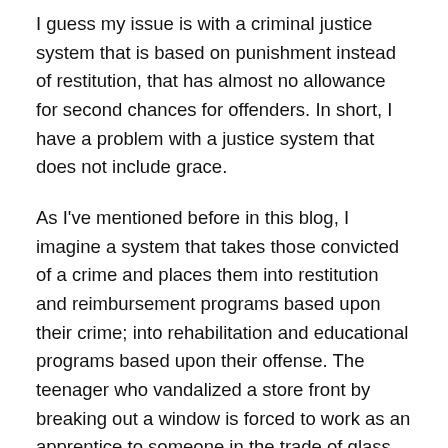I guess my issue is with a criminal justice system that is based on punishment instead of restitution, that has almost no allowance for second chances for offenders. In short, I have a problem with a justice system that does not include grace.
As I've mentioned before in this blog, I imagine a system that takes those convicted of a crime and places them into restitution and reimbursement programs based upon their crime; into rehabilitation and educational programs based upon their offense. The teenager who vandalized a store front by breaking out a window is forced to work as an apprentice to someone in the trade of glass repair, with one of his projects being the replacing of the glass he shattered, until he masters the craft. He then has a skill with which to earn a respectable living and has recompensed the business owner for the damage he caused. Someone who defrauds people of money if forced